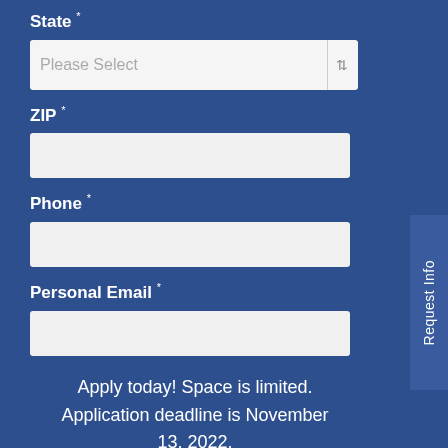State *
Please Select (dropdown)
ZIP *
(empty input field)
Phone *
(empty input field)
Personal Email *
(empty input field)
Apply today! Space is limited. Application deadline is November 13, 2022.